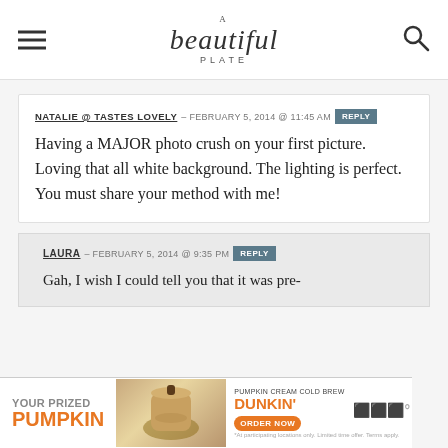A Beautiful Plate
NATALIE @ TASTES LOVELY – FEBRUARY 5, 2014 @ 11:45 AM  REPLY
Having a MAJOR photo crush on your first picture. Loving that all white background. The lighting is perfect. You must share your method with me!
LAURA – FEBRUARY 5, 2014 @ 9:35 PM  REPLY
Gah, I wish I could tell you that it was pre-
[Figure (photo): Dunkin' Pumpkin Cream Cold Brew advertisement banner with orange text 'YOUR PRIZED PUMPKIN' and a drink image]